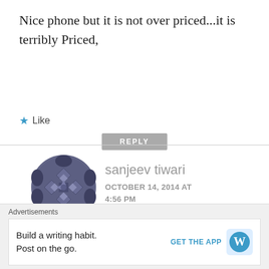Nice phone but it is not over priced...it is terribly Priced,
Like
REPLY
[Figure (illustration): Circular avatar with decorative geometric diamond/knot pattern in dark slate-blue color]
sanjeev tiwari
OCTOBER 14, 2014 AT 4:56 PM
this is shit from Samsung..........
Like
Advertisements
Build a writing habit. Post on the go.
GET THE APP